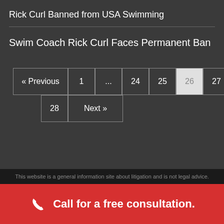Rick Curl Banned from USA Swimming
Swim Coach Rick Curl Faces Permanent Ban
[Figure (other): Pagination navigation with buttons: « Previous, 1, ..., 24, 25, 26 (active/current), 27, 28, Next »]
This website is a general information site about litigation and is not legal advice.
Call for a free consultation.